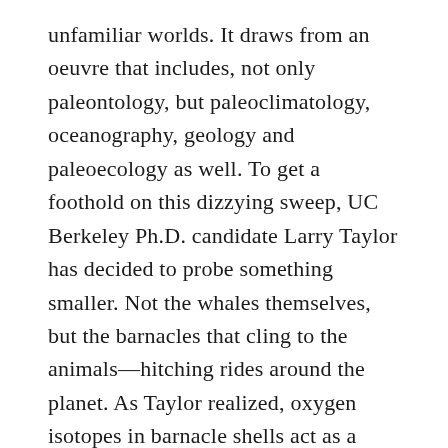unfamiliar worlds. It draws from an oeuvre that includes, not only paleontology, but paleoclimatology, oceanography, geology and paleoecology as well. To get a foothold on this dizzying sweep, UC Berkeley Ph.D. candidate Larry Taylor has decided to probe something smaller. Not the whales themselves, but the barnacles that cling to the animals—hitching rides around the planet. As Taylor realized, oxygen isotopes in barnacle shells act as a chemical passport of a whale's travels, filled with stamps from the world's various oceans. And humpback-whale barnacles go back millions of years in the fossil record. Taylor hopes to find ancient